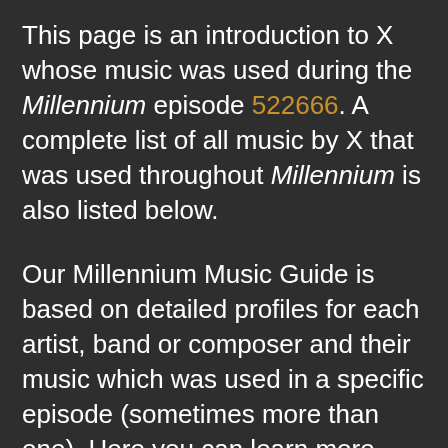This page is an introduction to X whose music was used during the Millennium episode 522666. A complete list of all music by X that was used throughout Millennium is also listed below.
Our Millennium Music Guide is based on detailed profiles for each artist, band or composer and their music which was used in a specific episode (sometimes more than one). Here you can learn more about the music and the people that created the music, including where available a description of the scenes in which their music can be heard.
You can learn more and discuss the music